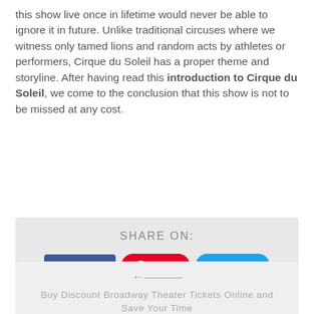this show live once in lifetime would never be able to ignore it in future. Unlike traditional circuses where we witness only tamed lions and random acts by athletes or performers, Cirque du Soleil has a proper theme and storyline. After having read this introduction to Cirque du Soleil, we come to the conclusion that this show is not to be missed at any cost.
[Figure (screenshot): Share on section with Facebook Like (0), Pinterest Save, and Twitter Tweet buttons on a light gray background]
[Figure (screenshot): Navigation box with left arrow and link: Buy Discount Broadway Theater Tickets Online and Save Your Time]